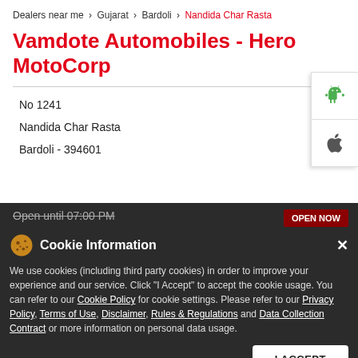Dealers near me > Gujarat > Bardoli > Nandida Char Rasta
Vamdote Automobiles - Hero MotoCorp
No 1241
Nandida Char Rasta
Bardoli - 394601
Open until 07:00 PM
Cookie Information
We use cookies (including third party cookies) in order to improve your experience and our service. Click "I Accept" to accept the cookie usage. You can refer to our Cookie Policy for cookie settings. Please refer to our Privacy Policy, Terms of Use, Disclaimer, Rules & Regulations and Data Collection Contract or more information on personal data usage.
I ACCEPT